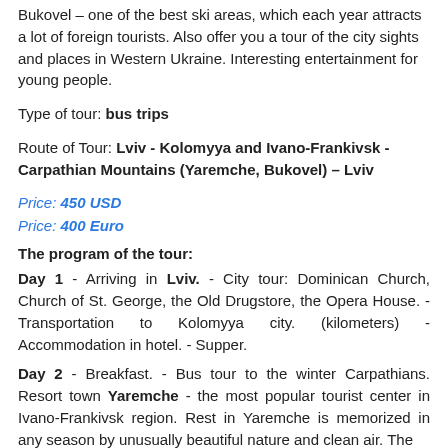Bukovel – one of the best ski areas, which each year attracts a lot of foreign tourists. Also offer you a tour of the city sights and places in Western Ukraine. Interesting entertainment for young people.
Type of tour: bus trips
Route of Tour: Lviv - Kolomyya and Ivano-Frankivsk - Carpathian Mountains (Yaremche, Bukovel) – Lviv
Price: 450 USD
Price: 400 Euro
The program of the tour:
Day 1 - Arriving in Lviv. - City tour: Dominican Church, Church of St. George, the Old Drugstore, the Opera House. - Transportation to Kolomyya city. (kilometers) - Accommodation in hotel. - Supper.
Day 2 - Breakfast. - Bus tour to the winter Carpathians. Resort town Yaremche - the most popular tourist center in Ivano-Frankivsk region. Rest in Yaremche is memorized in any season by unusually beautiful nature and clean air. The